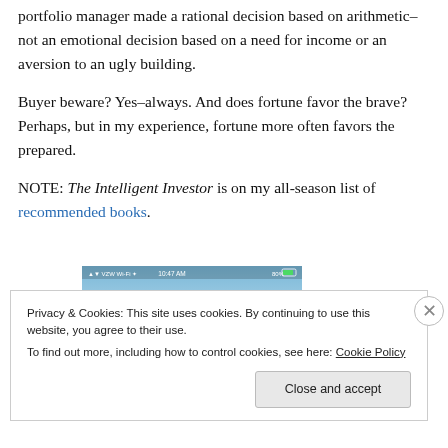portfolio manager made a rational decision based on arithmetic–not an emotional decision based on a need for income or an aversion to an ugly building.
Buyer beware? Yes–always. And does fortune favor the brave? Perhaps, but in my experience, fortune more often favors the prepared.
NOTE: The Intelligent Investor is on my all-season list of recommended books.
[Figure (screenshot): Mobile phone screenshot showing sky with clouds and a status bar reading 10:47 AM, VZW Wi-Fi, 80%]
Privacy & Cookies: This site uses cookies. By continuing to use this website, you agree to their use.
To find out more, including how to control cookies, see here: Cookie Policy